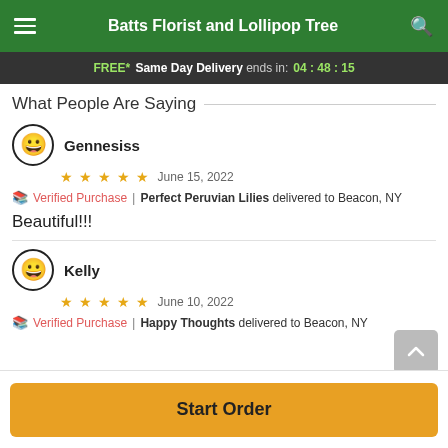Batts Florist and Lollipop Tree
FREE* Same Day Delivery ends in: 04:48:15
What People Are Saying
Gennesiss — June 15, 2022 — ★★★★★
📖 Verified Purchase | Perfect Peruvian Lilies delivered to Beacon, NY
Beautiful!!!
Kelly — June 10, 2022 — ★★★★★
📖 Verified Purchase | Happy Thoughts delivered to Beacon, NY
Start Order